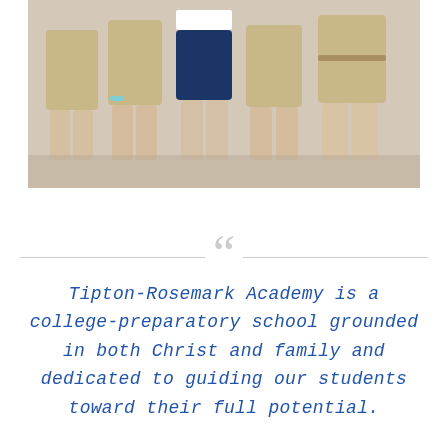[Figure (photo): Photo of students standing in a line wearing school uniforms — khaki shorts/skirts and navy tops, showing from waist down]
Tipton-Rosemark Academy is a college-preparatory school grounded in both Christ and family and dedicated to guiding our students toward their full potential.